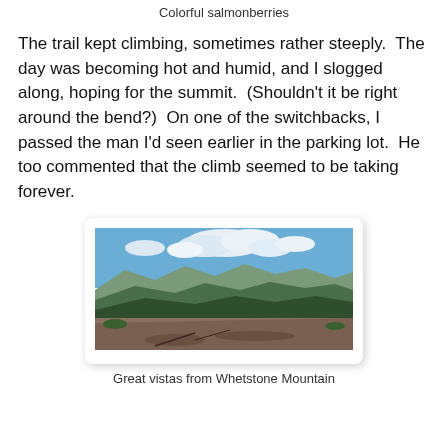Colorful salmonberries
The trail kept climbing, sometimes rather steeply. The day was becoming hot and humid, and I slogged along, hoping for the summit. (Shouldn't it be right around the bend?) On one of the switchbacks, I passed the man I'd seen earlier in the parking lot. He too commented that the climb seemed to be taking forever.
[Figure (photo): Mountain vista photograph showing forested ridgelines and peaks under a partly cloudy blue sky, taken from a rocky summit vantage point at Whetstone Mountain.]
Great vistas from Whetstone Mountain